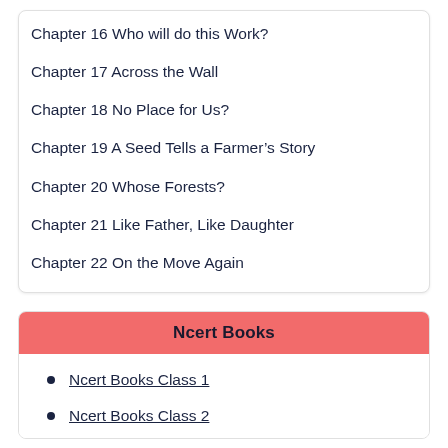Chapter 16 Who will do this Work?
Chapter 17 Across the Wall
Chapter 18 No Place for Us?
Chapter 19 A Seed Tells a Farmer's Story
Chapter 20 Whose Forests?
Chapter 21 Like Father, Like Daughter
Chapter 22 On the Move Again
Ncert Books
Ncert Books Class 1
Ncert Books Class 2